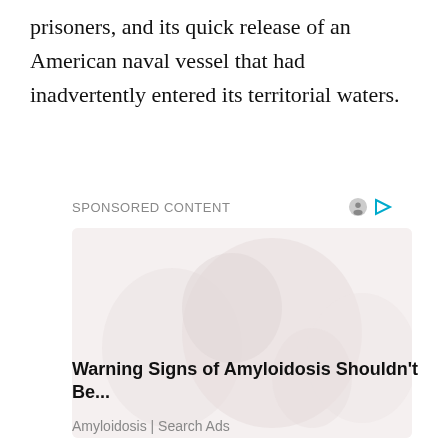prisoners, and its quick release of an American naval vessel that had inadvertently entered its territorial waters.
SPONSORED CONTENT
[Figure (illustration): Ad image showing a faint/light illustration, possibly medical or anatomical, with very pale pinkish-white tones on a light background]
Warning Signs of Amyloidosis Shouldn't Be...
Amyloidosis | Search Ads